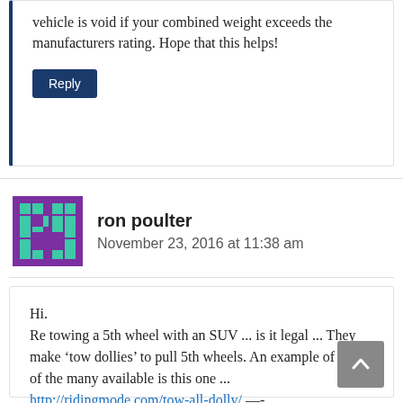vehicle is void if your combined weight exceeds the manufacturers rating. Hope that this helps!
Reply
ron poulter
November 23, 2016 at 11:38 am
Hi.
Re towing a 5th wheel with an SUV ... is it legal ... They make ‘tow dollies’ to pull 5th wheels. An example of one of the many available is this one ...
http://ridingmode.com/tow-all-dolly/ —-